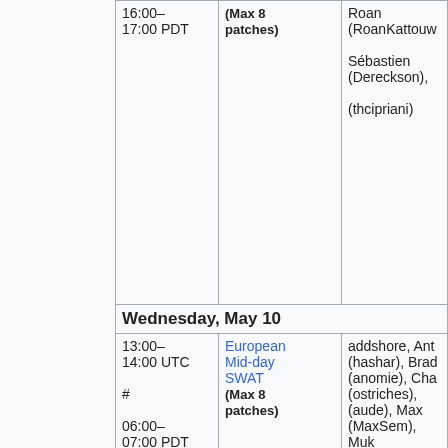| Time | Event | Participants |
| --- | --- | --- |
| 16:00–17:00 PDT | (Max 8 patches) | Roan (RoanKattouw), Sébastien (Dereckson), (thcipriani) |
| Wednesday, May 10 |  |  |
| 13:00–14:00 UTC # 06:00–07:00 PDT | European Mid-day SWAT (Max 8 patches) | addshore, Ant (hashar), Brad (anomie), Cha (ostriches), (aude), Max (MaxSem), Muk (twentyafter), Roan (RoanKattouw), Sébastien (Dereckson), (thcipriani) |